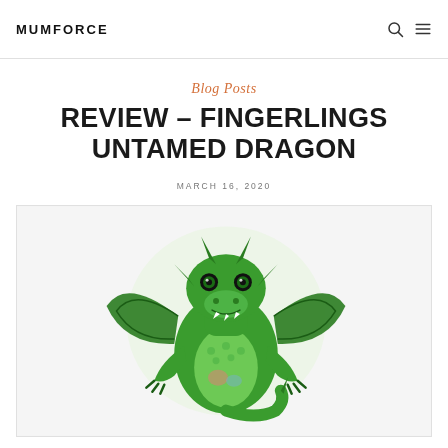MUMFORCE
Blog Posts
REVIEW – FINGERLINGS UNTAMED DRAGON
MARCH 16, 2020
[Figure (photo): Green Fingerlings Untamed Dragon toy figurine on a white/light background]